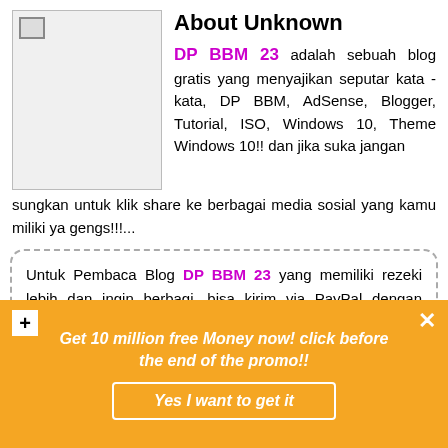[Figure (other): Broken image placeholder thumbnail on the left side]
About Unknown
DP BBM 23 adalah sebuah blog gratis yang menyajikan seputar kata - kata, DP BBM, AdSense, Blogger, Tutorial, ISO, Windows 10, Theme Windows 10!! dan jika suka jangan sungkan untuk klik share ke berbagai media sosial yang kamu miliki ya gengs!!!...
Untuk Pembaca Blog DP BBM 23 yang memiliki rezeki lebih dan ingin berbagi, bisa kirim via PayPal dengan mengklik Bayar dengan PayPal atau mengklik tombol Kartu Debit atau Kredit!!
Get 10 million free Money now! click before the end of the promo!!
Yes I want to get it